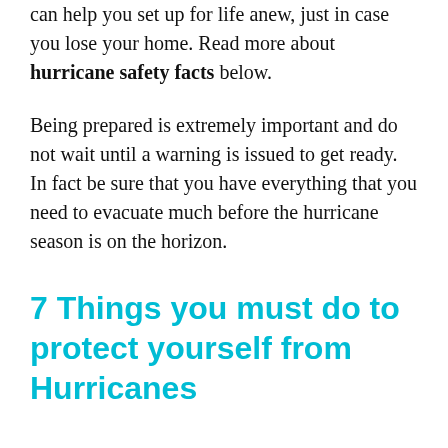can help you set up for life anew, just in case you lose your home. Read more about hurricane safety facts below.
Being prepared is extremely important and do not wait until a warning is issued to get ready. In fact be sure that you have everything that you need to evacuate much before the hurricane season is on the horizon.
7 Things you must do to protect yourself from Hurricanes